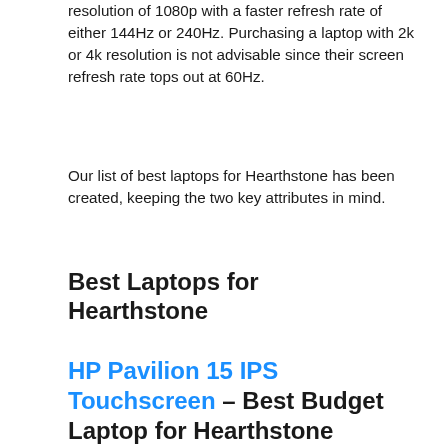resolution of 1080p with a faster refresh rate of either 144Hz or 240Hz. Purchasing a laptop with 2k or 4k resolution is not advisable since their screen refresh rate tops out at 60Hz.
Our list of best laptops for Hearthstone has been created, keeping the two key attributes in mind.
Best Laptops for Hearthstone
HP Pavilion 15 IPS Touchscreen – Best Budget Laptop for Hearthstone